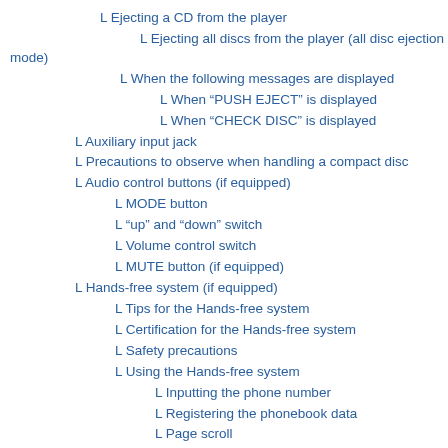L Ejecting a CD from the player
L Ejecting all discs from the player (all disc ejection mode)
L When the following messages are displayed
L When “PUSH EJECT” is displayed
L When “CHECK DISC” is displayed
L Auxiliary input jack
L Precautions to observe when handling a compact disc
L Audio control buttons (if equipped)
L MODE button
L “up” and “down” switch
L Volume control switch
L MUTE button (if equipped)
L Hands-free system (if equipped)
L Tips for the Hands-free system
L Certification for the Hands-free system
L Safety precautions
L Using the Hands-free system
L Inputting the phone number
L Registering the phonebook data
L Page scroll
L Making a phone call
L Taking a phone call and declining an incoming call